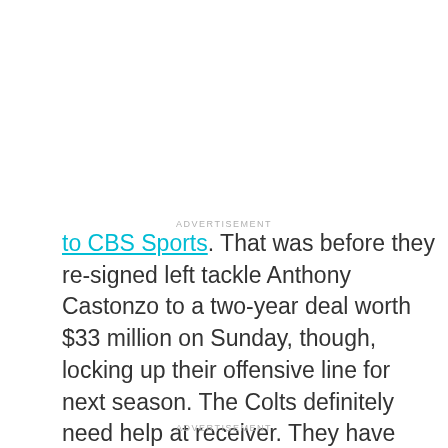ADVERTISEMENT
to CBS Sports. That was before they re-signed left tackle Anthony Castonzo to a two-year deal worth $33 million on Sunday, though, locking up their offensive line for next season. The Colts definitely need help at receiver. They have four-time Pro Bowl receiver T.Y. Hilton, but he was sidelined with injuries for much of last season and after him, they have a lot of unproven guys.
ADVERTISEMENT